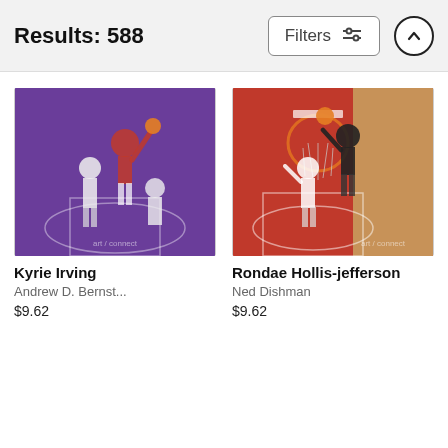Results: 588
Filters
[Figure (screenshot): Basketball action photo: Kyrie Irving layup with players from two teams on a purple court]
Kyrie Irving
Andrew D. Bernst...
$9.62
[Figure (screenshot): Basketball action photo: Rondae Hollis-Jefferson dunking on a red court with overhead view]
Rondae Hollis-jefferson
Ned Dishman
$9.62